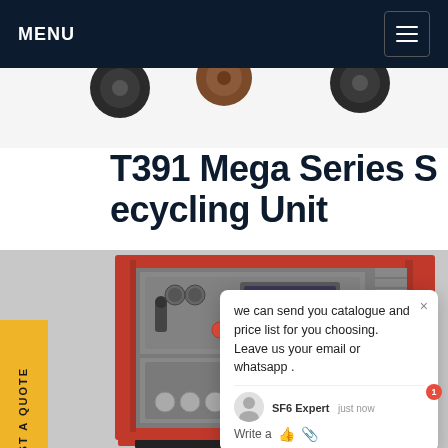MENU
T391 Mega Series SF6 Recycling Unit
[Figure (photo): SF6 gas recycling unit — a large industrial machine with red metal frame, grey cabinet, gauges, switches, control panel with display screen, and red buttons. Viewed at slight angle showing front and side panels.]
REQUEST A QUOTE
we can send you catalogue and price list for you choosing. Leave us your email or whatsapp .
SF6 Expert   just now
Write a